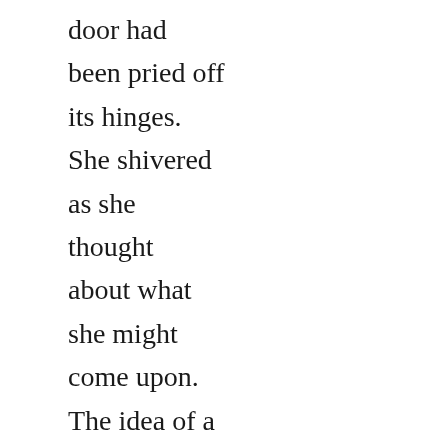door had been pried off its hinges. She shivered as she thought about what she might come upon. The idea of a seventeen-year-old corpse wasn't appealing.